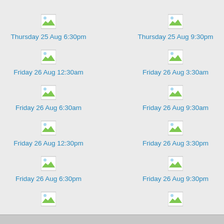[Figure (other): Image placeholder icon for Thursday 25 Aug 6:30pm]
Thursday 25 Aug 6:30pm
[Figure (other): Image placeholder icon for Thursday 25 Aug 9:30pm]
Thursday 25 Aug 9:30pm
[Figure (other): Image placeholder icon for Friday 26 Aug 12:30am]
Friday 26 Aug 12:30am
[Figure (other): Image placeholder icon for Friday 26 Aug 3:30am]
Friday 26 Aug 3:30am
[Figure (other): Image placeholder icon for Friday 26 Aug 6:30am]
Friday 26 Aug 6:30am
[Figure (other): Image placeholder icon for Friday 26 Aug 9:30am]
Friday 26 Aug 9:30am
[Figure (other): Image placeholder icon for Friday 26 Aug 12:30pm]
Friday 26 Aug 12:30pm
[Figure (other): Image placeholder icon for Friday 26 Aug 3:30pm]
Friday 26 Aug 3:30pm
[Figure (other): Image placeholder icon for Friday 26 Aug 6:30pm]
Friday 26 Aug 6:30pm
[Figure (other): Image placeholder icon for Friday 26 Aug 9:30pm]
Friday 26 Aug 9:30pm
[Figure (other): Image placeholder icon partially visible (Saturday row)]
[Figure (other): Image placeholder icon partially visible (Saturday row)]